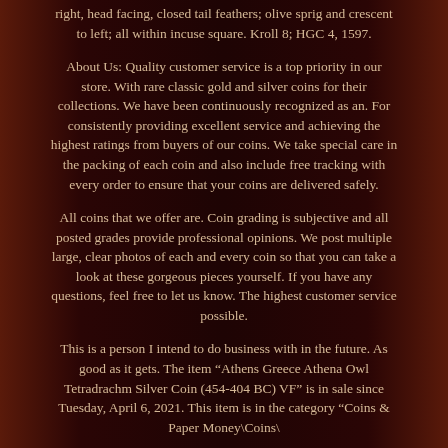right, head facing, closed tail feathers; olive sprig and crescent to left; all within incuse square. Kroll 8; HGC 4, 1597.
About Us: Quality customer service is a top priority in our store. With rare classic gold and silver coins for their collections. We have been continuously recognized as an. For consistently providing excellent service and achieving the highest ratings from buyers of our coins. We take special care in the packing of each coin and also include free tracking with every order to ensure that your coins are delivered safely.
All coins that we offer are. Coin grading is subjective and all posted grades provide professional opinions. We post multiple large, clear photos of each and every coin so that you can take a look at these gorgeous pieces yourself. If you have any questions, feel free to let us know. The highest customer service possible.
This is a person I intend to do business with in the future. As good as it gets. The item "Athens Greece Athena Owl Tetradrachm Silver Coin (454-404 BC) VF" is in sale since Tuesday, April 6, 2021. This item is in the category "Coins & Paper Money\Coins\